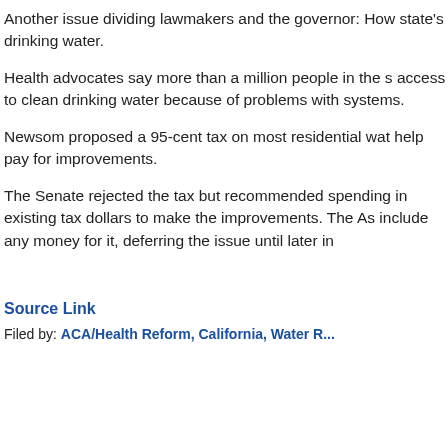Another issue dividing lawmakers and the governor: How state's drinking water.
Health advocates say more than a million people in the s access to clean drinking water because of problems with systems.
Newsom proposed a 95-cent tax on most residential wat help pay for improvements.
The Senate rejected the tax but recommended spending in existing tax dollars to make the improvements. The As include any money for it, deferring the issue until later in
Source Link
Filed by: ACA/Health Reform, California, Water R...